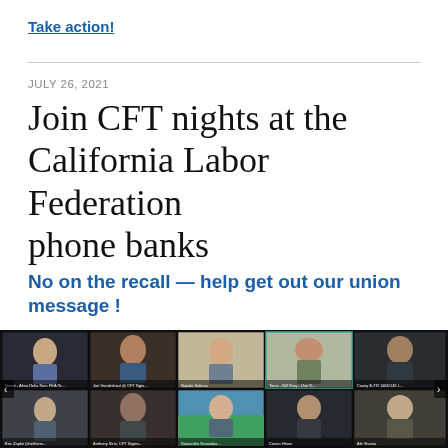Take action!
JULY 26, 2021
Join CFT nights at the California Labor Federation phone banks
No on the recall — help get out our union message !
[Figure (photo): Zoom video call screenshot showing multiple participants in a grid layout, appearing to be a virtual phone bank event]